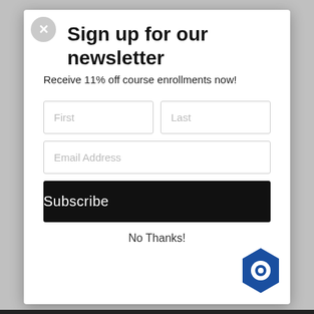Sign up for our newsletter
Receive 11% off course enrollments now!
[Figure (screenshot): Newsletter signup modal form with First/Last name fields, Email Address field, Subscribe button, and No Thanks link]
No Thanks!